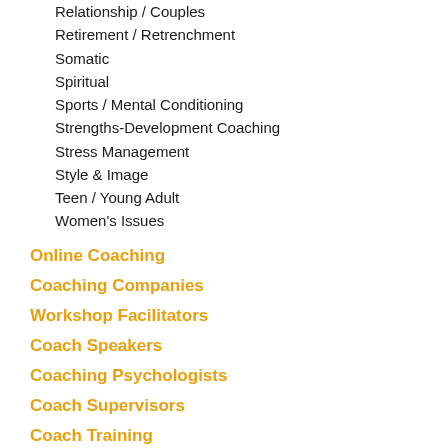Relationship / Couples
Retirement / Retrenchment
Somatic
Spiritual
Sports / Mental Conditioning
Strengths-Development Coaching
Stress Management
Style & Image
Teen / Young Adult
Women's Issues
Online Coaching
Coaching Companies
Workshop Facilitators
Coach Speakers
Coaching Psychologists
Coach Supervisors
Coach Training